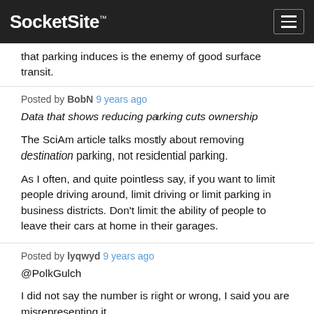SocketSite™
that parking induces is the enemy of good surface transit.
Posted by BobN 9 years ago
Data that shows reducing parking cuts ownership

The SciAm article talks mostly about removing destination parking, not residential parking.

As I often, and quite pointless say, if you want to limit people driving around, limit driving or limit parking in business districts. Don't limit the ability of people to leave their cars at home in their garages.
Posted by lyqwyd 9 years ago
@PolkGulch

I did not say the number is right or wrong, I said you are misrepresenting it.

It is related to shopping districts, not any city in general, nor SF overall.